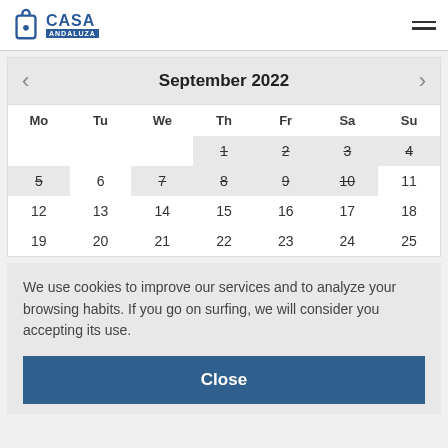Casa Andaluza
| Mo | Tu | We | Th | Fr | Sa | Su |
| --- | --- | --- | --- | --- | --- | --- |
|  |  |  | 1 | 2 | 3 | 4 |
| 5 | 6 | 7 | 8 | 9 | 10 | 11 |
| 12 | 13 | 14 | 15 | 16 | 17 | 18 |
| 19 | 20 | 21 | 22 | 23 | 24 | 25 |
We use cookies to improve our services and to analyze your browsing habits. If you go on surfing, we will consider you accepting its use.
Close